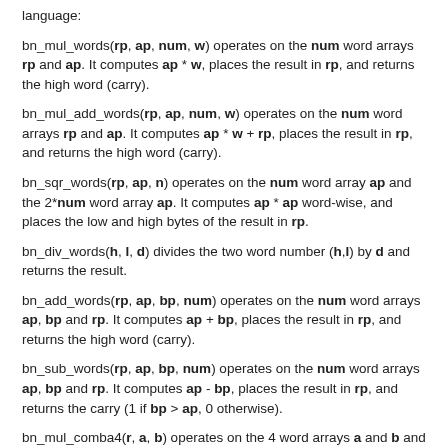language:
bn_mul_words(rp, ap, num, w) operates on the num word arrays rp and ap. It computes ap * w, places the result in rp, and returns the high word (carry).
bn_mul_add_words(rp, ap, num, w) operates on the num word arrays rp and ap. It computes ap * w + rp, places the result in rp, and returns the high word (carry).
bn_sqr_words(rp, ap, n) operates on the num word array ap and the 2*num word array ap. It computes ap * ap word-wise, and places the low and high bytes of the result in rp.
bn_div_words(h, l, d) divides the two word number (h,l) by d and returns the result.
bn_add_words(rp, ap, bp, num) operates on the num word arrays ap, bp and rp. It computes ap + bp, places the result in rp, and returns the high word (carry).
bn_sub_words(rp, ap, bp, num) operates on the num word arrays ap, bp and rp. It computes ap - bp, places the result in rp, and returns the carry (1 if bp > ap, 0 otherwise).
bn_mul_comba4(r, a, b) operates on the 4 word arrays a and b and the 8 word array r. It computes a*b and places the result in r.
bn_mul_comba8(r, a, b) operates on the 8 word arrays a and b and the 16 word array r. It computes a*b and places the result in r.